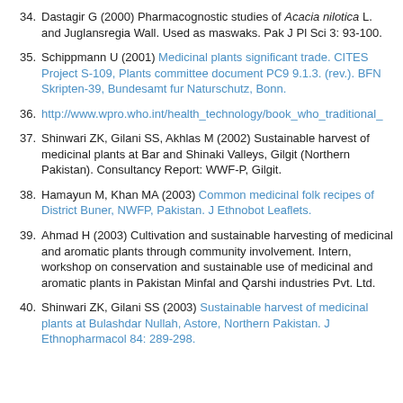34. Dastagir G (2000) Pharmacognostic studies of Acacia nilotica L. and Juglansregia Wall. Used as maswaks. Pak J Pl Sci 3: 93-100.
35. Schippmann U (2001) Medicinal plants significant trade. CITES Project S-109, Plants committee document PC9 9.1.3. (rev.). BFN Skripten-39, Bundesamt fur Naturschutz, Bonn.
36. http://www.wpro.who.int/health_technology/book_who_traditional_
37. Shinwari ZK, Gilani SS, Akhlas M (2002) Sustainable harvest of medicinal plants at Bar and Shinaki Valleys, Gilgit (Northern Pakistan). Consultancy Report: WWF-P, Gilgit.
38. Hamayun M, Khan MA (2003) Common medicinal folk recipes of District Buner, NWFP, Pakistan. J Ethnobot Leaflets.
39. Ahmad H (2003) Cultivation and sustainable harvesting of medicinal and aromatic plants through community involvement. Intern, workshop on conservation and sustainable use of medicinal and aromatic plants in Pakistan Minfal and Qarshi industries Pvt. Ltd.
40. Shinwari ZK, Gilani SS (2003) Sustainable harvest of medicinal plants at Bulashdar Nullah, Astore, Northern Pakistan. J Ethnopharmacol 84: 289-298.